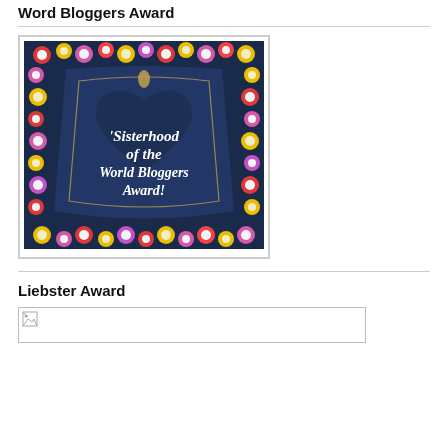Word Bloggers Award
[Figure (illustration): Sisterhood of the World Bloggers Award badge: denim jeans pocket background bordered by colorful flowers, with white cursive text reading 'Sisterhood of the World Bloggers Award!']
Liebster Award
[Figure (illustration): Broken/missing image placeholder for Liebster Award image]